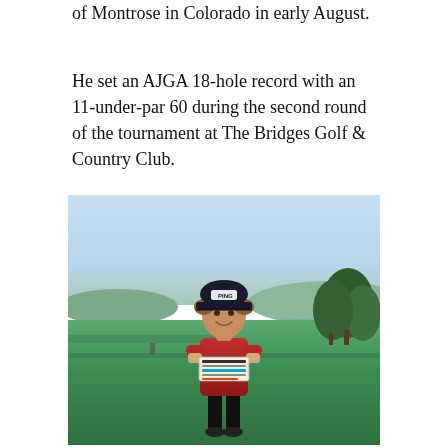of Montrose in Colorado in early August.
He set an AJGA 18-hole record with an 11-under-par 60 during the second round of the tournament at The Bridges Golf & Country Club.
[Figure (photo): A young golfer wearing a red polo shirt and a PING hat, smiling and holding a scorecard, standing on a golf course fairway with a pond and trees in the background, on a sunny day.]